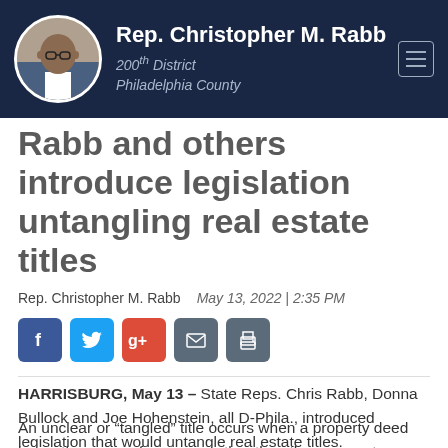Rep. Christopher M. Rabb | 200th District | Philadelphia County
Rabb and others introduce legislation untangling real estate titles
Rep. Christopher M. Rabb   May 13, 2022 | 2:35 PM
[Figure (other): Social sharing icons: Facebook, Twitter, Google+, Email, Print]
HARRISBURG, May 13 – State Reps. Chris Rabb, Donna Bullock and Joe Hohenstein, all D-Phila., introduced legislation that would untangle real estate titles.
An unclear or “tangled” title occurs when a property deed bears the name of someone other than the apparent owner or occupant. This most commonly happens when